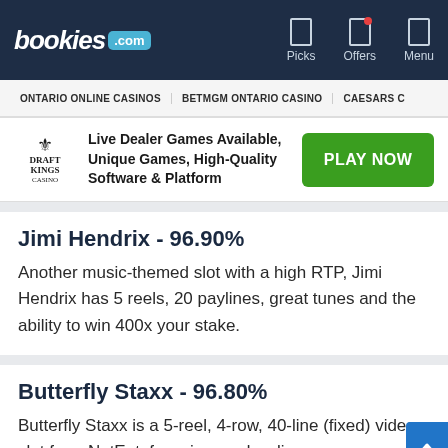bookies.com — Picks | Offers | Menu
ONTARIO ONLINE CASINOS   BETMGM ONTARIO CASINO   CAESARS C
Live Dealer Games Available, Unique Games, High-Quality Software & Platform   PLAY NOW
Jimi Hendrix - 96.90%
Another music-themed slot with a high RTP, Jimi Hendrix has 5 reels, 20 paylines, great tunes and the ability to win 400x your stake.
Butterfly Staxx - 96.80%
Butterfly Staxx is a 5-reel, 4-row, 40-line (fixed) video slot from NetEnt, focusing on dazzling